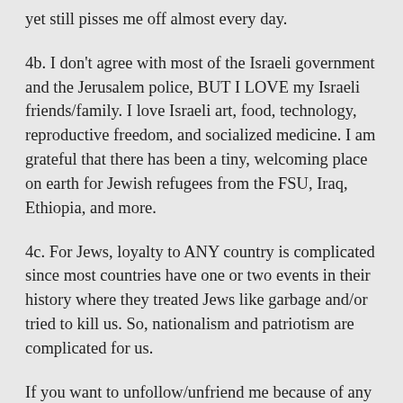yet still pisses me off almost every day.
4b. I don't agree with most of the Israeli government and the Jerusalem police, BUT I LOVE my Israeli friends/family. I love Israeli art, food, technology, reproductive freedom, and socialized medicine. I am grateful that there has been a tiny, welcoming place on earth for Jewish refugees from the FSU, Iraq, Ethiopia, and more.
4c. For Jews, loyalty to ANY country is complicated since most countries have one or two events in their history where they treated Jews like garbage and/or tried to kill us. So, nationalism and patriotism are complicated for us.
If you want to unfollow/unfriend me because of any of these above points, please go ahead. I can take it.If you want to discuss Zionism more, that's cool, but it has to wait until Sunday because I'm going to try to observe shabbat a bit.Shabbat Shalom, Jummah Mubarak, and all the prayers for